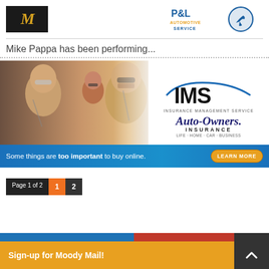[Figure (logo): Black background logo with gold italic text, left side]
[Figure (logo): P&L Automotive Service logo with wrench graphic, blue and gold text]
Mike Pappa has been performing...
[Figure (infographic): IMS Insurance Management Service / Auto-Owners Insurance advertisement showing a family in a car. Text: Some things are too important to buy online. LEARN MORE button.]
Page 1 of 2  1  2
Sign-up for Moody Mail!